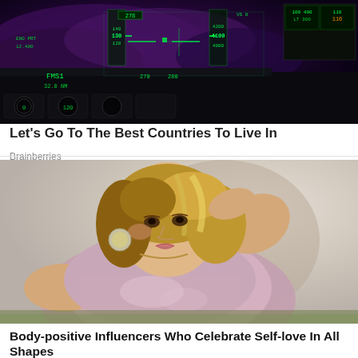[Figure (photo): Cockpit instrument panel photo showing flight instruments with green HUD display, purple cloudy sky visible through windshield, and various avionics screens on the right side]
Let's Go To The Best Countries To Live In
Brainberries
[Figure (photo): A plus-size woman with blonde highlights in a shiny pink/rose metallic sleeveless top, large earrings, posing with her hand behind her head against a light background]
Body-positive Influencers Who Celebrate Self-love In All Shapes